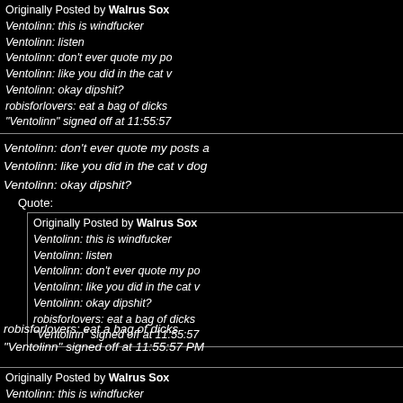Originally Posted by Walrus Sox
Ventolinn: this is windfucker
Ventolinn: listen
Ventolinn: don't ever quote my po...
Ventolinn: like you did in the cat v...
Ventolinn: okay dipshit?
robisforlovers: eat a bag of dicks
"Ventolinn" signed off at 11:55:57
Ventolinn: don't ever quote my posts a...
Ventolinn: like you did in the cat v dog...
Ventolinn: okay dipshit?
Quote:
Originally Posted by Walrus Sox
Ventolinn: this is windfucker
Ventolinn: listen
Ventolinn: don't ever quote my po...
Ventolinn: like you did in the cat v...
Ventolinn: okay dipshit?
robisforlovers: eat a bag of dicks
"Ventolinn" signed off at 11:55:57
robisforlovers: eat a bag of dicks
"Ventolinn" signed off at 11:55:57 PM
Originally Posted by Walrus Sox
Ventolinn: this is windfucker